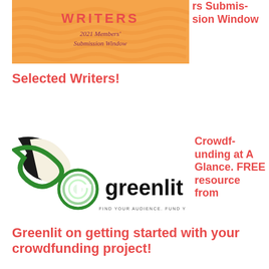[Figure (illustration): Orange banner with wavy pattern, text 'WRITERS' in red and '2021 Members' Submission Window' in dark red below]
rs Submission Window
Selected Writers!
[Figure (logo): Greenlit logo with green swoosh/G icon and text 'greenlit' with tagline 'FIND YOUR AUDIENCE. FUND YOUR PASSION.']
Crowdfunding at A Glance. FREE resource from Greenlit on getting started with your crowdfunding project!